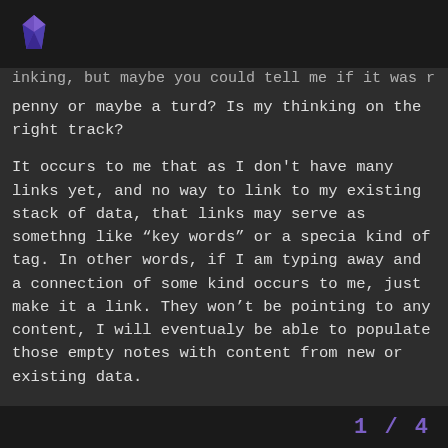[Figure (logo): Purple gem/diamond icon in dark header bar]
inking, but maybe you could tell me if it was really a penny or maybe a turd? Is my thinking on the right track?
It occurs to me that as I don't have many links yet, and no way to link to my existing stack of data, that links may serve as somethng like “key words” or a specia kind of tag. In other words, if I am typing away and a connection of some kind occurs to me, just make it a link. They won’t be pointing to any content, I will eventualy be able to populate those empty notes with content from new or existing data.
Does that make sense? Do you think I am on the right track with my thinking?
Thanks!
Rex
1 / 4